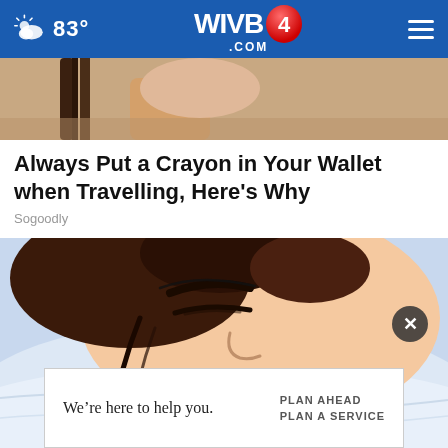83° WIVB4.COM
[Figure (photo): Partial top image, cropped — appears to show a shoulder/neck area, possibly a guitar or object nearby, brown tones]
Always Put a Crayon in Your Wallet when Travelling, Here's Why
Sogoodly
[Figure (illustration): Comic/cartoon style illustration of a woman with dark hair lying down sleeping, eyes closed, red lips slightly open, resting on blue-white pillow or surface]
We're here to help you.  PLAN AHEAD PLAN A SERVICE